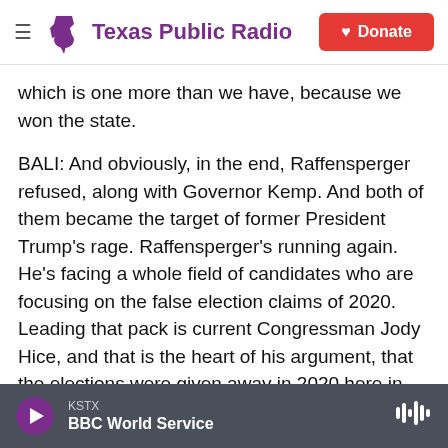Texas Public Radio | Donate
which is one more than we have, because we won the state.
BALI: And obviously, in the end, Raffensperger refused, along with Governor Kemp. And both of them became the target of former President Trump’s rage. Raffensperger's running again. He's facing a whole field of candidates who are focusing on the false election claims of 2020. Leading that pack is current Congressman Jody Hice, and that is the heart of his argument, that the elections were given away in 2020 here in Georgia.
KSTX | BBC World Service